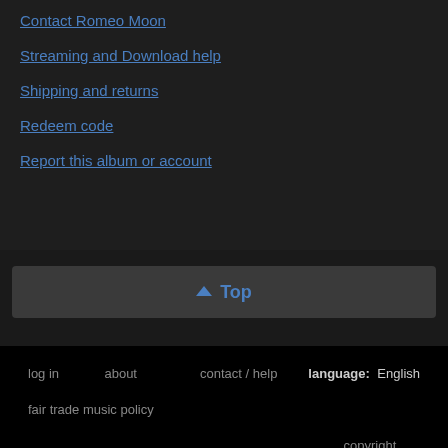Contact Romeo Moon
Streaming and Download help
Shipping and returns
Redeem code
Report this album or account
↑ Top
log in   about   contact / help   language: English   fair trade music policy   terms of use   privacy   copyright policy   bandcamp   switch to desktop view